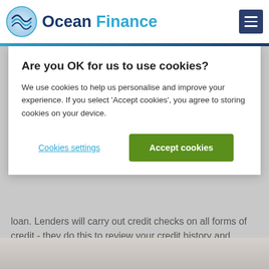Ocean Finance
Are you OK for us to use cookies?
We use cookies to help us personalise and improve your experience. If you select 'Accept cookies', you agree to storing cookies on your device.
Cookies settings
Accept cookies
loan. Lenders will carry out credit checks on all forms of credit - they do this to review your credit history and assess how risky it would be to lend you money from their perspective. You may, however, be able to get a quote for your homeowner loan without having a credit check performed.
5 min read
[Figure (photo): Person photo at bottom of page]